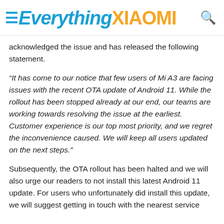≡Everything XIAOMI 🔍
acknowledged the issue and has released the following statement.
“It has come to our notice that few users of Mi A3 are facing issues with the recent OTA update of Android 11. While the rollout has been stopped already at our end, our teams are working towards resolving the issue at the earliest. Customer experience is our top most priority, and we regret the inconvenience caused. We will keep all users updated on the next steps.”
Subsequently, the OTA rollout has been halted and we will also urge our readers to not install this latest Android 11 update. For users who unfortunately did install this update, we will suggest getting in touch with the nearest service